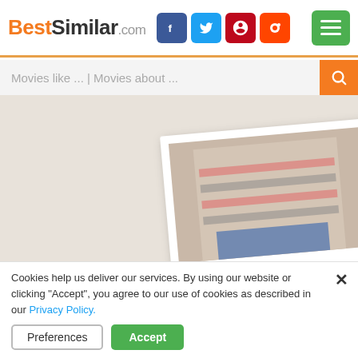BestSimilar.com
Movies like ... | Movies about ...
[Figure (photo): Movie poster photo showing a person in a striped shirt, partially visible, placed on a light beige surface like a polaroid photograph]
TRAILER
Genre: Drama
Country: USA
+ Watchlist
Cookies help us deliver our services. By using our website or clicking "Accept", you agree to our use of cookies as described in our Privacy Policy.
Preferences
Accept